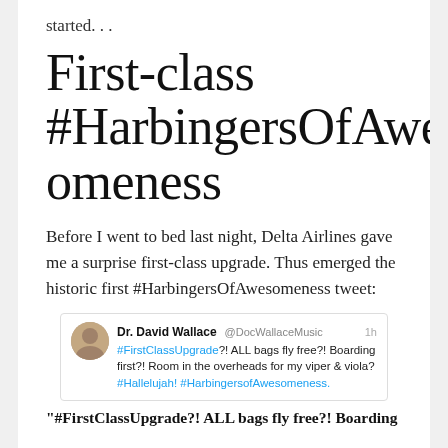started...
First-class #HarbingersOfAwesomeness
Before I went to bed last night, Delta Airlines gave me a surprise first-class upgrade. Thus emerged the historic first #HarbingersOfAwesomeness tweet:
[Figure (screenshot): Tweet by Dr. David Wallace (@DocWallaceMusic): '#FirstClassUpgrade?! ALL bags fly free?! Boarding first?! Room in the overheads for my viper & viola? #Hallelujah! #HarbingersofAwesomeness.']
"#FirstClassUpgrade?! ALL bags fly free?! Boarding